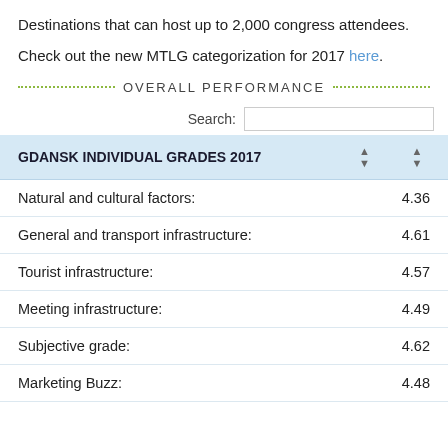Destinations that can host up to 2,000 congress attendees.
Check out the new MTLG categorization for 2017 here.
OVERALL PERFORMANCE
| GDANSK INDIVIDUAL GRADES 2017 |  |  |
| --- | --- | --- |
| Natural and cultural factors: |  | 4.36 |
| General and transport infrastructure: |  | 4.61 |
| Tourist infrastructure: |  | 4.57 |
| Meeting infrastructure: |  | 4.49 |
| Subjective grade: |  | 4.62 |
| Marketing Buzz: |  | 4.48 |